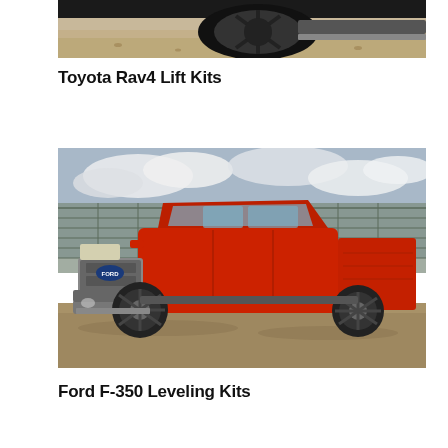[Figure (photo): Partial view of a dark vehicle wheel and undercarriage on a dirt/gravel surface, cropped at top]
Toyota Rav4 Lift Kits
[Figure (photo): Red Ford F-350 Super Duty pickup truck parked on a dirt lot in front of an industrial metal building with cloudy sky background]
Ford F-350 Leveling Kits